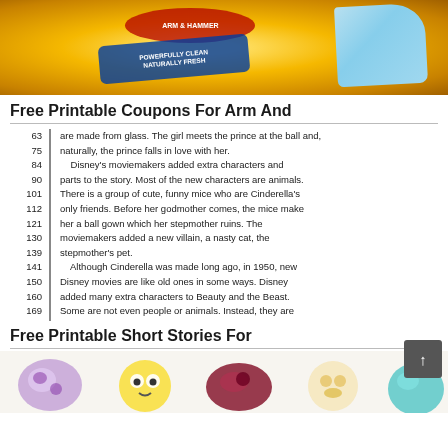[Figure (photo): Yellow product box (Arm & Hammer) with blue curved shape on right side, top portion of image cropped]
Free Printable Coupons For Arm And
63
75
84
90
101
112
121
130
139
141
150
160
169
179 are made from glass. The girl meets the prince at the ball and, naturally, the prince falls in love with her. Disney's moviemakers added extra characters and parts to the story. Most of the new characters are animals. There is a group of cute, funny mice who are Cinderella's only friends. Before her godmother comes, the mice make her a ball gown which her stepmother ruins. The moviemakers added a new villain, a nasty cat, the stepmother's pet. Although Cinderella was made long ago, in 1950, new Disney movies are like old ones in some ways. Disney added many extra characters to Beauty and the Beast. Some are not even people or animals. Instead, they are dishes, furniture, and other household objects. One is a French candleholder. Another is a heavy clock. One is a bird.
Free Printable Short Stories For
[Figure (illustration): Colorful cartoon illustrations showing various round character-like objects, partially visible at bottom of page]